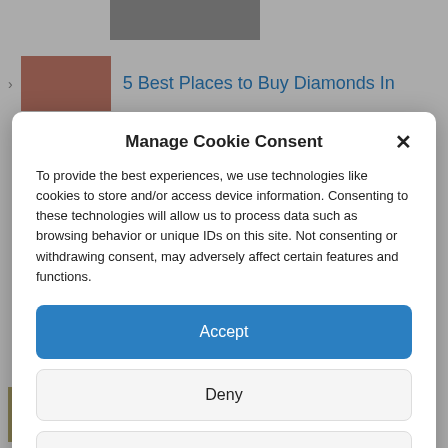[Figure (screenshot): Background webpage with list items showing diamond-related articles, partially obscured by a cookie consent modal overlay.]
Manage Cookie Consent
To provide the best experiences, we use technologies like cookies to store and/or access device information. Consenting to these technologies will allow us to process data such as browsing behavior or unique IDs on this site. Not consenting or withdrawing consent, may adversely affect certain features and functions.
Accept
Deny
View preferences
Cookie Policy   Privacy Policy